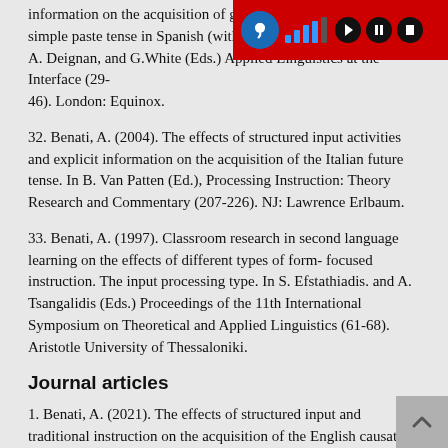information on the acquisition of gender simple paste tense in Spanish (with P. Romero, op.cit, In A. Deymann, A. Deignan, and G.White (Eds.) Applied Linguistics at the Interface (29-46). London: Equinox.
32. Benati, A. (2004). The effects of structured input activities and explicit information on the acquisition of the Italian future tense. In B. Van Patten (Ed.), Processing Instruction: Theory Research and Commentary (207-226). NJ: Lawrence Erlbaum.
33. Benati, A. (1997). Classroom research in second language learning on the effects of different types of form- focused instruction. The input processing type. In S. Efstathiadis. and A. Tsangalidis (Eds.) Proceedings of the 11th International Symposium on Theoretical and Applied Linguistics (61-68). Aristotle University of Thessaloniki.
Journal articles
1. Benati, A. (2021). The effects of structured input and traditional instruction on the acquisition of the English causative forms: An eye-tracking study measuring accuracy in responses and processing patterns. (under review - Language Teaching Research)